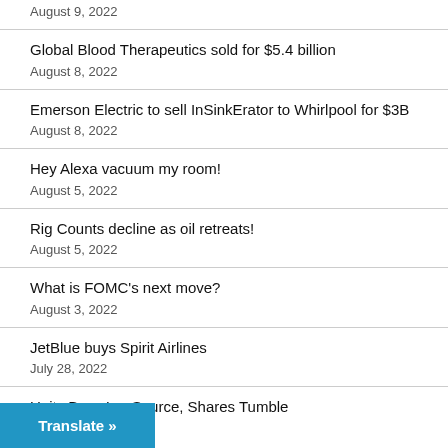August 9, 2022
Global Blood Therapeutics sold for $5.4 billion
August 8, 2022
Emerson Electric to sell InSinkErator to Whirlpool for $3B
August 8, 2022
Hey Alexa vacuum my room!
August 5, 2022
Rig Counts decline as oil retreats!
August 5, 2022
What is FOMC's next move?
August 3, 2022
JetBlue buys Spirit Airlines
July 28, 2022
Unity Buys IronSource, Shares Tumble